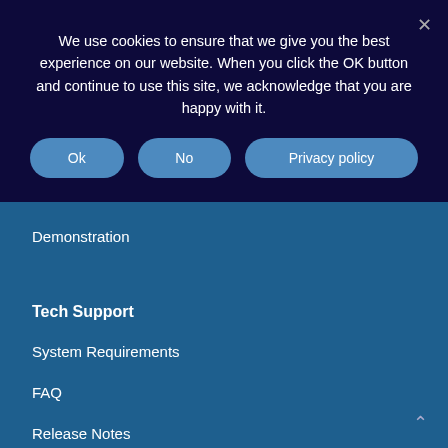We use cookies to ensure that we give you the best experience on our website. When you click the OK button and continue to use this site, we acknowledge that you are happy with it.
Ok
No
Privacy policy
Business Partners
Demonstration
Tech Support
System Requirements
FAQ
Release Notes
Support/Upgrade